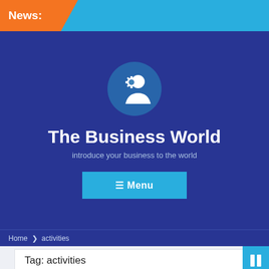News:
The Business World
introduce your business to the world
☰ Menu
Home  ❯  activities
Tag: activities
DEC  Fun  Winter  Activities  In